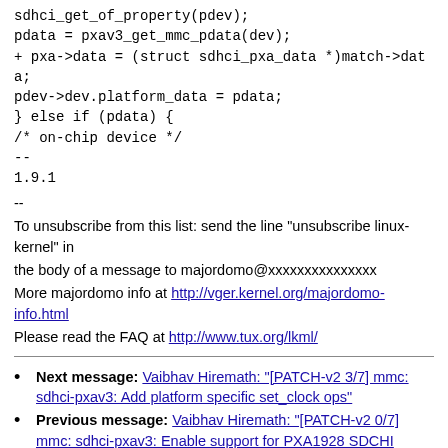sdhci_get_of_property(pdev);
pdata = pxav3_get_mmc_pdata(dev);
+ pxa->data = (struct sdhci_pxa_data *)match->data;
pdev->dev.platform_data = pdata;
} else if (pdata) {
/* on-chip device */
--
1.9.1
--
To unsubscribe from this list: send the line "unsubscribe linux-kernel" in
the body of a message to majordomo@xxxxxxxxxxxxxxx
More majordomo info at http://vger.kernel.org/majordomo-info.html
Please read the FAQ at http://www.tux.org/lkml/
Next message: Vaibhav Hiremath: "[PATCH-v2 3/7] mmc: sdhci-pxav3: Add platform specific set_clock ops"
Previous message: Vaibhav Hiremath: "[PATCH-v2 0/7] mmc: sdhci-pxav3: Enable support for PXA1928 SDCHI controller"
In reply to: Vaibhav Hiremath: "[PATCH-v2 0/7] mmc: